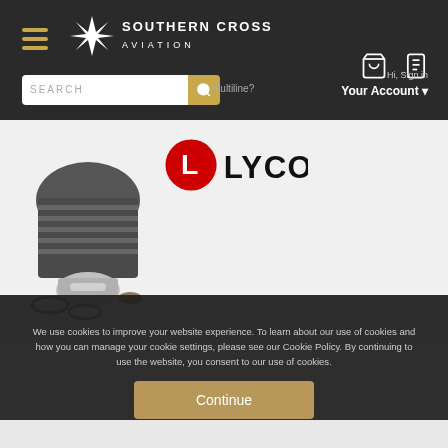[Figure (logo): Southern Cross Aviation logo with cross/star icon and text]
[Figure (logo): Lycoming aviation engine brand logo in red and black]
[Figure (photo): Lycoming engine cylinder assembly with piston, rings, and gaskets parts]
We use cookies to improve your website experience. To learn about our use of cookies and how you can manage your cookie settings, please see our Cookie Policy. By continuing to use the website, you consent to our use of cookies.
Continue